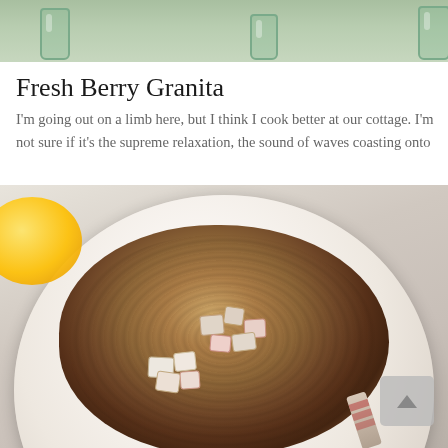[Figure (photo): Top portion of a food/lifestyle photo showing green glasses on a table with a blurred background]
Fresh Berry Granita
I'm going out on a limb here, but I think I cook better at our cottage. I'm not sure if it's the supreme relaxation, the sound of waves coasting onto
[Figure (photo): Overhead photo of a white bowl filled with baked oatmeal topped with diced apples, on a light background with an orange juice cup partially visible on the left and a spoon on the right. A gray scroll-to-top button is visible in the lower right corner.]